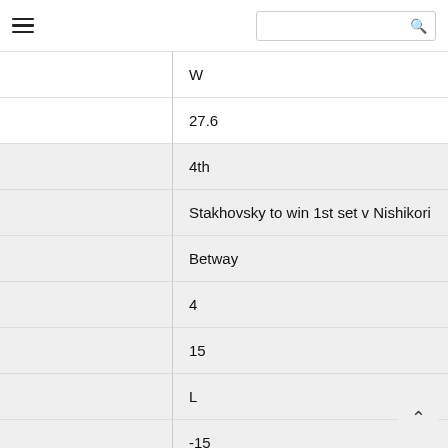Navigation header with hamburger menu and search box
|  |  |
| --- | --- |
|  | W |
|  | 27.6 |
|  | 4th |
|  | Stakhovsky to win 1st set v Nishikori |
|  | Betway |
|  | 4 |
|  | 15 |
|  | L |
|  | -15 |